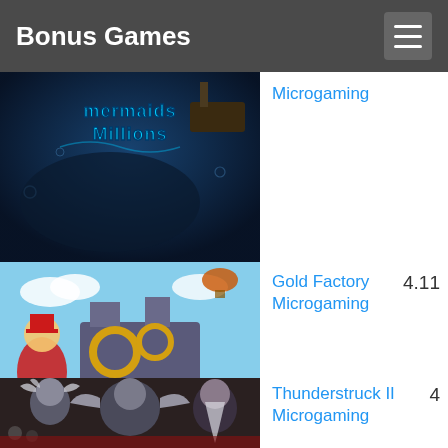Bonus Games
[Figure (screenshot): Mermaids Millions slot game thumbnail - underwater scene with mermaid title text]
Microgaming
[Figure (screenshot): Gold Factory slot game thumbnail - colorful steampunk factory with cartoon ringmaster]
Gold Factory
Microgaming
4.11
[Figure (screenshot): Thunderstruck II slot game thumbnail - dark fantasy characters with norse mythology theme]
Thunderstruck II
Microgaming
4